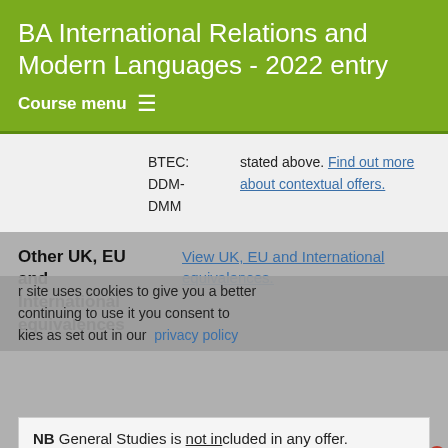BA International Relations and Modern Languages - 2022 entry
Course menu ≡
|  | BTEC: DDM-DMM | stated above. Find out more about contextual offers. |
| --- | --- | --- |
Other UK, EU and International equivalences
View UK, EU and International equivalences.
Our site uses cookies to give you a better experience. By continuing to use it you consent to receiving cookies as set out in our privacy policy
NB General Studies is not included in any offer.
Grades advertised on each programme webpage are the typical level at which our offers are made and provide